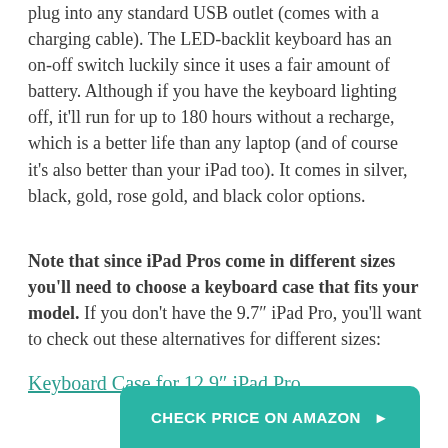plug into any standard USB outlet (comes with a charging cable). The LED-backlit keyboard has an on-off switch luckily since it uses a fair amount of battery. Although if you have the keyboard lighting off, it'll run for up to 180 hours without a recharge, which is a better life than any laptop (and of course it's also better than your iPad too). It comes in silver, black, gold, rose gold, and black color options.
Note that since iPad Pros come in different sizes you'll need to choose a keyboard case that fits your model. If you don't have the 9.7″ iPad Pro, you'll want to check out these alternatives for different sizes:
Keyboard Case for 12.9″ iPad Pro
CHECK PRICE ON AMAZON ▶